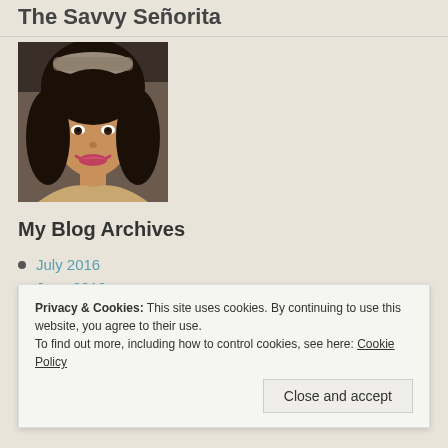The Savvy Senorita
[Figure (photo): Portrait photo of a young woman with dark hair and a decorative headband, smiling.]
My Blog Archives
July 2016
June 2016
March 2016
February 2016
July 2015
Privacy & Cookies: This site uses cookies. By continuing to use this website, you agree to their use.
To find out more, including how to control cookies, see here: Cookie Policy
Close and accept